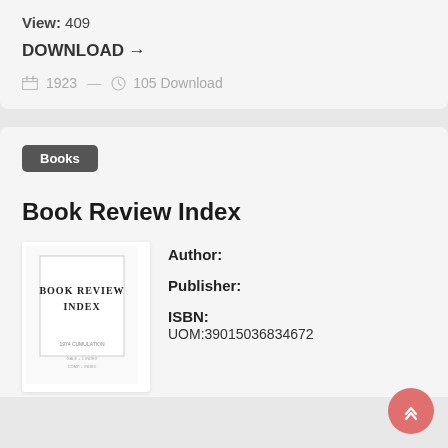View: 409
DOWNLOAD →
1923  —  105 Download
Books
Book Review Index
[Figure (photo): Thumbnail of book cover for Book Review Index]
Author: Publisher: ISBN: UOM:39015036834672